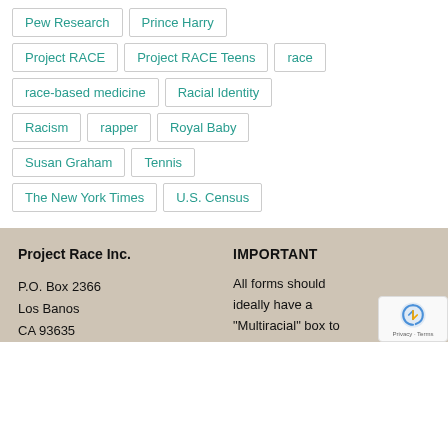Pew Research
Prince Harry
Project RACE
Project RACE Teens
race
race-based medicine
Racial Identity
Racism
rapper
Royal Baby
Susan Graham
Tennis
The New York Times
U.S. Census
Project Race Inc.
P.O. Box 2366
Los Banos
CA 93635
IMPORTANT
All forms should ideally have a "Multiracial" box to